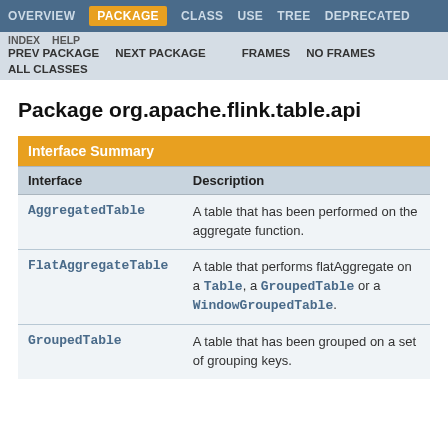OVERVIEW  PACKAGE  CLASS  USE  TREE  DEPRECATED
INDEX  HELP  PREV PACKAGE  NEXT PACKAGE  FRAMES  NO FRAMES  ALL CLASSES
Package org.apache.flink.table.api
| Interface | Description |
| --- | --- |
| AggregatedTable | A table that has been performed on the aggregate function. |
| FlatAggregateTable | A table that performs flatAggregate on a Table, a GroupedTable or a WindowGroupedTable. |
| GroupedTable | A table that has been grouped on a set of grouping keys. |